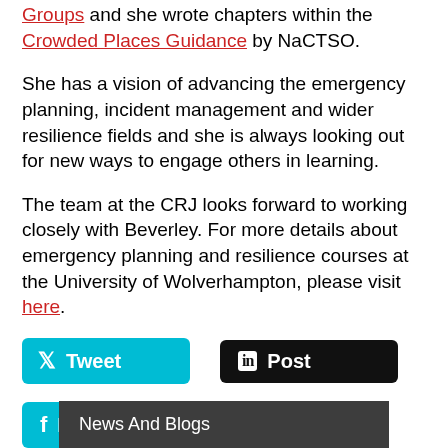Groups and she wrote chapters within the Crowded Places Guidance by NaCTSO.
She has a vision of advancing the emergency planning, incident management and wider resilience fields and she is always looking out for new ways to engage others in learning.
The team at the CRJ looks forward to working closely with Beverley. For more details about emergency planning and resilience courses at the University of Wolverhampton, please visit here.
[Figure (other): Tweet button (Twitter/X), LinkedIn Post button, and Facebook Post button for sharing content on social media.]
News And Blogs